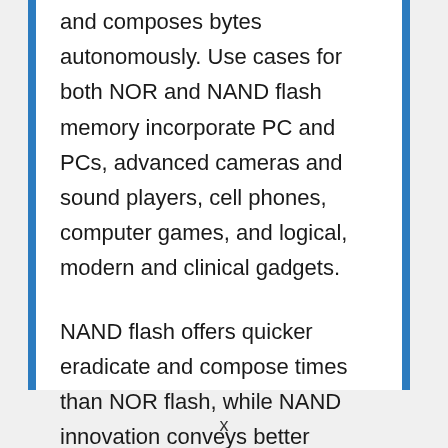and composes bytes autonomously. Use cases for both NOR and NAND flash memory incorporate PC and PCs, advanced cameras and sound players, cell phones, computer games, and logical, modern and clinical gadgets.
NAND flash offers quicker eradicate and compose times than NOR flash, while NAND innovation conveys better thickness at a lower cost for every piece. NAND additionally presents to multiple times the perseverance or NOR.
x